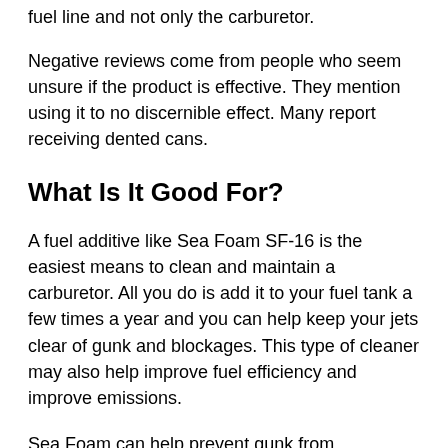fuel line and not only the carburetor.
Negative reviews come from people who seem unsure if the product is effective. They mention using it to no discernible effect. Many report receiving dented cans.
What Is It Good For?
A fuel additive like Sea Foam SF-16 is the easiest means to clean and maintain a carburetor. All you do is add it to your fuel tank a few times a year and you can help keep your jets clear of gunk and blockages. This type of cleaner may also help improve fuel efficiency and improve emissions.
Sea Foam can help prevent gunk from accumulating in your carburetor, but it cannot cleanse an already backed-up carburetor. For that, you'll need to soak your carburetor in a solvent dip.